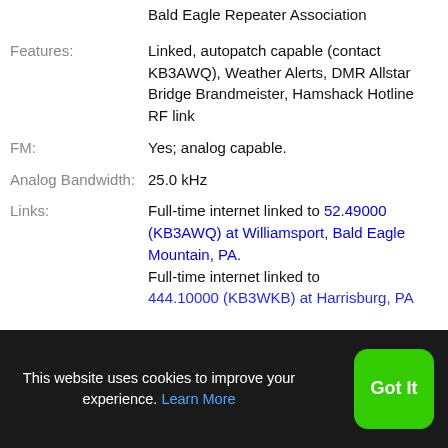Bald Eagle Repeater Association
Features: Linked, autopatch capable (contact KB3AWQ), Weather Alerts, DMR Allstar Bridge Brandmeister, Hamshack Hotline RF link
FM: Yes; analog capable.
Analog Bandwidth: 25.0 kHz
Links: Full-time internet linked to 52.49000 (KB3AWQ) at Williamsport, Bald Eagle Mountain, PA. Full-time internet linked to 444.10000 (KB3WKB) at Harrisburg, PA
This website uses cookies to improve your experience. Learn More Got It